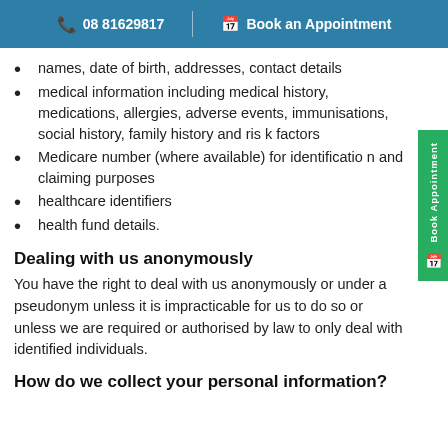08 81629817 | Book an Appointment
names, date of birth, addresses, contact details
medical information including medical history, medications, allergies, adverse events, immunisations, social history, family history and risk factors
Medicare number (where available) for identification and claiming purposes
healthcare identifiers
health fund details.
Dealing with us anonymously
You have the right to deal with us anonymously or under a pseudonym unless it is impracticable for us to do so or unless we are required or authorised by law to only deal with identified individuals.
How do we collect your personal information?